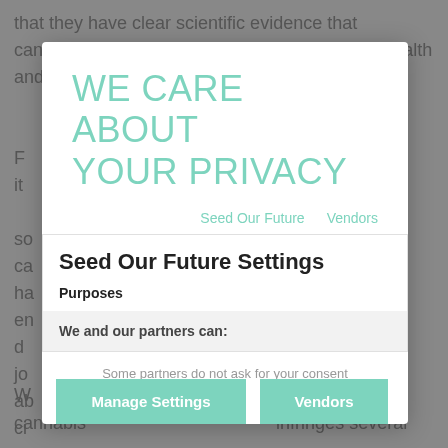that they have clear scientific evidence that cannabis causes harm to physical and mental health and harm to...
WE CARE ABOUT YOUR PRIVACY
Seed Our Future   Vendors
Seed Our Future Settings
Purposes
We and our partners can:
Some partners do not ask for your consent
Manage Settings   Vendors
cannabis...infringes several